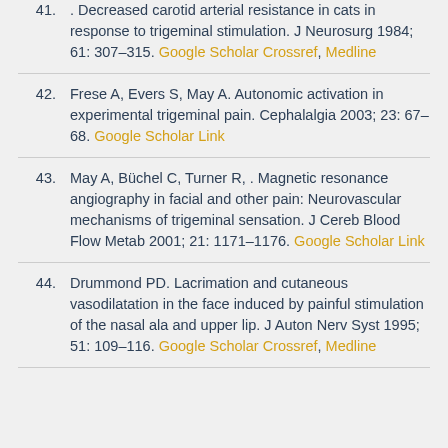41. . Decreased carotid arterial resistance in cats in response to trigeminal stimulation. J Neurosurg 1984; 61: 307–315. Google Scholar Crossref, Medline
42. Frese A, Evers S, May A. Autonomic activation in experimental trigeminal pain. Cephalalgia 2003; 23: 67–68. Google Scholar Link
43. May A, Büchel C, Turner R, . Magnetic resonance angiography in facial and other pain: Neurovascular mechanisms of trigeminal sensation. J Cereb Blood Flow Metab 2001; 21: 1171–1176. Google Scholar Link
44. Drummond PD. Lacrimation and cutaneous vasodilatation in the face induced by painful stimulation of the nasal ala and upper lip. J Auton Nerv Syst 1995; 51: 109–116. Google Scholar Crossref, Medline